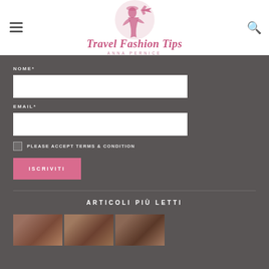Travel Fashion Tips — ANNA PERNICE
NOME*
EMAIL*
PLEASE ACCEPT TERMS & CONDITION
ISCRIVITI
ARTICOLI PIÙ LETTI
[Figure (photo): Thumbnail image strip below ARTICOLI PIÙ LETTI section header]